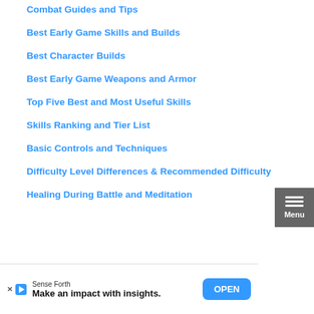Combat Guides and Tips
Best Early Game Skills and Builds
Best Character Builds
Best Early Game Weapons and Armor
Top Five Best and Most Useful Skills
Skills Ranking and Tier List
Basic Controls and Techniques
Difficulty Level Differences & Recommended Difficulty
Healing During Battle and Meditation
[Figure (other): Menu button with hamburger icon and 'Menu' label on dark grey background]
Sense Forth
Make an impact with insights.
OPEN